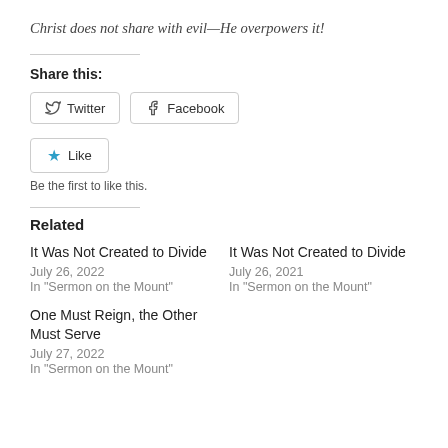Christ does not share with evil—He overpowers it!
Share this:
[Figure (screenshot): Twitter and Facebook share buttons, and a Like button with star icon]
Be the first to like this.
Related
It Was Not Created to Divide
July 26, 2022
In "Sermon on the Mount"
It Was Not Created to Divide
July 26, 2021
In "Sermon on the Mount"
One Must Reign, the Other Must Serve
July 27, 2022
In "Sermon on the Mount"